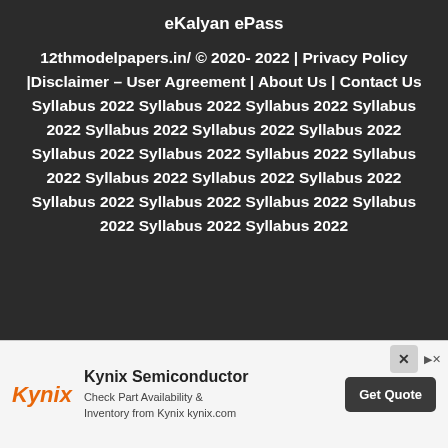eKalyan ePass
12thmodelpapers.in/ © 2020- 2022 | Privacy Policy |Disclaimer – User Agreement | About Us | Contact Us Syllabus 2022 Syllabus 2022 Syllabus 2022 Syllabus 2022 Syllabus 2022 Syllabus 2022 Syllabus 2022 Syllabus 2022 Syllabus 2022 Syllabus 2022 Syllabus 2022 Syllabus 2022 Syllabus 2022 Syllabus 2022 Syllabus 2022 Syllabus 2022 Syllabus 2022 Syllabus 2022 Syllabus 2022 Syllabus 2022
[Figure (other): Kynix Semiconductor advertisement banner with logo, description text 'Check Part Availability & Inventory from Kynix kynix.com' and a 'Get Quote' button]